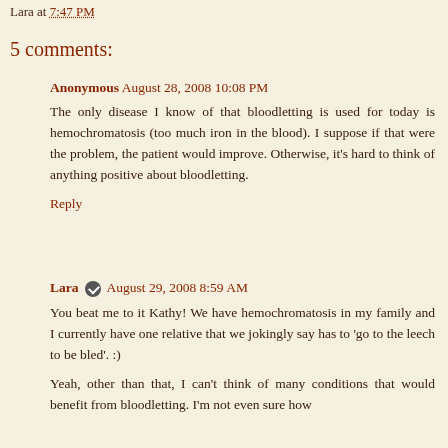Lara at 7:47 PM
5 comments:
Anonymous August 28, 2008 10:08 PM
The only disease I know of that bloodletting is used for today is hemochromatosis (too much iron in the blood). I suppose if that were the problem, the patient would improve. Otherwise, it's hard to think of anything positive about bloodletting.
Reply
Lara August 29, 2008 8:59 AM
You beat me to it Kathy! We have hemochromatosis in my family and I currently have one relative that we jokingly say has to 'go to the leech to be bled'. :)

Yeah, other than that, I can't think of many conditions that would benefit from bloodletting. I'm not even sure how